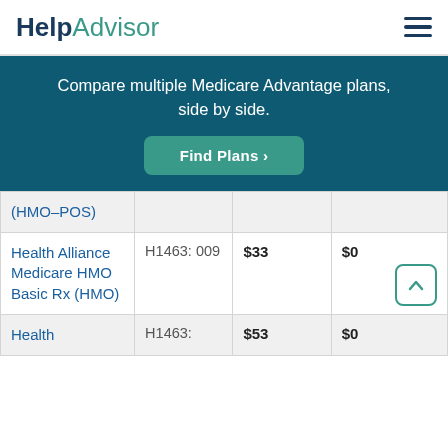HelpAdvisor
Compare multiple Medicare Advantage plans, side by side.
Find Plans >
| Plan Name | Plan ID | Monthly Premium | Drug Coverage |
| --- | --- | --- | --- |
| (HMO-POS) |  |  |  |
| Health Alliance Medicare HMO Basic Rx (HMO) | H1463: 009 | $33 | $0 |
| Health | H1463: | $53 | $0 |